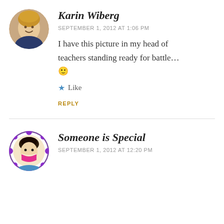[Figure (photo): Circular avatar photo of Karin Wiberg, a woman with blonde hair smiling]
Karin Wiberg
SEPTEMBER 1, 2012 AT 1:06 PM
I have this picture in my head of teachers standing ready for battle… 🙂
★ Like
REPLY
[Figure (illustration): Circular avatar illustration of Someone is Special, a cartoon character with dark hair, wearing a colorful outfit, with purple decorative circles around the border]
Someone is Special
SEPTEMBER 1, 2012 AT 12:20 PM